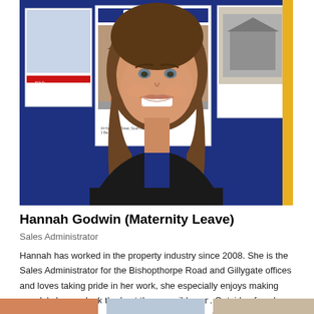[Figure (photo): Professional headshot of Hannah Godwin smiling, standing in front of an estate agent window display showing property listings with a Churchills branded board. She has long brown hair and is wearing a black top.]
Hannah Godwin (Maternity Leave)
Sales Administrator
Hannah has worked in the property industry since 2008. She is the Sales Administrator for the Bishopthorpe Road and Gillygate offices and loves taking pride in her work, she especially enjoys making people's homes look the best they possibly can. Outside of work, Hannah enjoys walking in the countryside and visiting her family back home in Brighton.